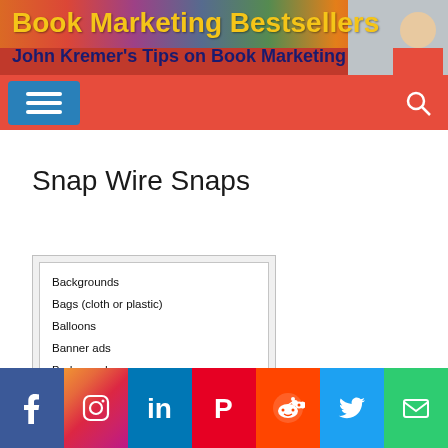[Figure (screenshot): Book Marketing Bestsellers website header with red background, yellow bold title 'Book Marketing Bestsellers', dark blue subtitle 'John Kremer's Tips on Book Marketing', blue menu button with hamburger icon, search icon, and colorful photo strip at top]
Snap Wire Snaps
Backgrounds
Bags (cloth or plastic)
Balloons
Banner ads
Bedspreads
Billboards
[Figure (infographic): Social media share bar with icons for Facebook, Instagram, LinkedIn, Pinterest, Reddit, Twitter, and Email on colored backgrounds]